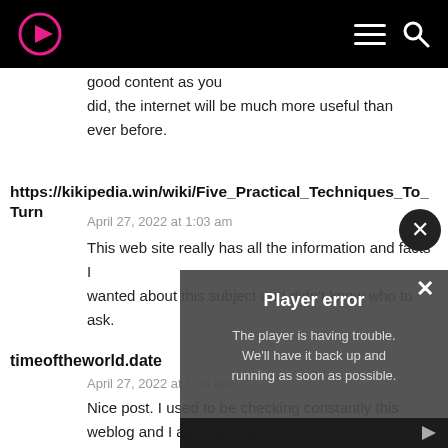[logo icon] [hamburger menu] [search icon]
good content as you did, the internet will be much more useful than ever before.
https://kikipedia.win/wiki/Five_Practical_Techniques_To_Turn
April 27, 2022 at 1:03 am
This web site really has all the information and facts I wanted about this subject and didn't know who to ask.
timeoftheworld.date
April 27, 2022 at 1:03 am
Nice post. I used to be checking constantly this weblog and I am impressed! Very useful info specifically the remaining section. I take
[Figure (screenshot): Player error overlay with close button. Title: 'Player error'. Message: 'The player is having trouble. We'll have it back up and running as soon as possible.']